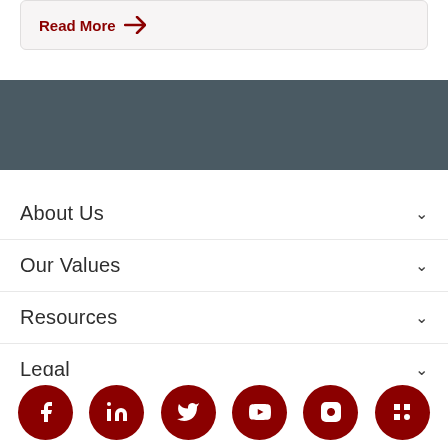Read More →
About Us
Our Values
Resources
Legal
Our Specializations
[Figure (infographic): Social media icons row: Facebook, LinkedIn, Twitter, YouTube, Instagram, and one more — all dark red circular icons]